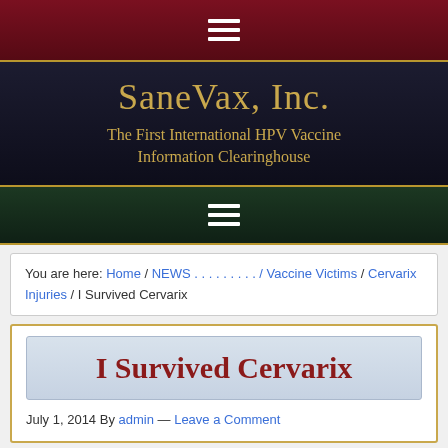SaneVax, Inc. — The First International HPV Vaccine Information Clearinghouse
You are here: Home / NEWS......... / Vaccine Victims / Cervarix Injuries / I Survived Cervarix
I Survived Cervarix
July 1, 2014 By admin — Leave a Comment